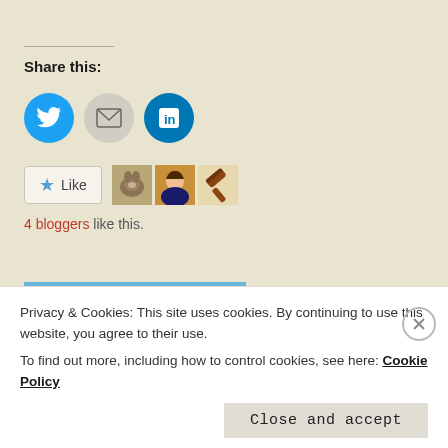Share this:
[Figure (illustration): Social share icons: Twitter (blue circle with bird), Email (grey circle with envelope), LinkedIn (blue circle with 'in' logo)]
[Figure (illustration): Like button with star icon and three small blogger avatar photos]
4 bloggers like this.
[Figure (photo): Partial photo of a person's face from forehead down, eyes closed, against blue sky background]
Privacy & Cookies: This site uses cookies. By continuing to use this website, you agree to their use.
To find out more, including how to control cookies, see here: Cookie Policy
Close and accept